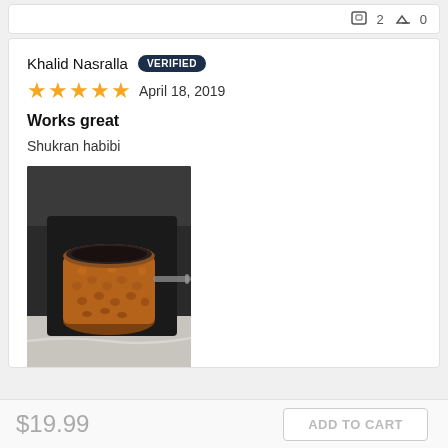2  0
Khalid Nasralla  VERIFIED
★★★★★  April 18, 2019
Works great
Shukran habibi
[Figure (photo): A copper Turkish coffee pot (cezve) with a hammered texture and metal handle, sitting on a dark surface.]
$19.99
ADD TO CART